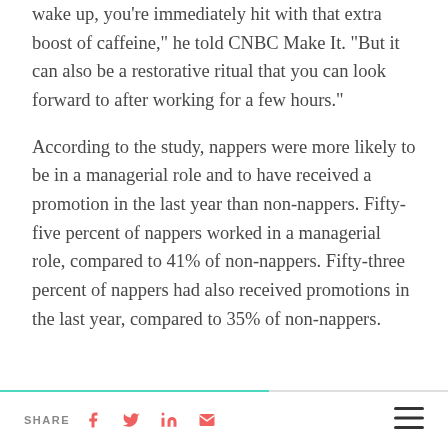wake up, you're immediately hit with that extra boost of caffeine," he told CNBC Make It. "But it can also be a restorative ritual that you can look forward to after working for a few hours."
According to the study, nappers were more likely to be in a managerial role and to have received a promotion in the last year than non-nappers. Fifty-five percent of nappers worked in a managerial role, compared to 41% of non-nappers. Fifty-three percent of nappers had also received promotions in the last year, compared to 35% of non-nappers.
SHARE [Facebook] [Twitter] [LinkedIn] [Email] [Menu]